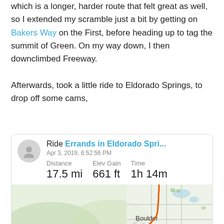which is a longer, harder route that felt great as well, so I extended my scramble just a bit by getting on Bakers Way on the First, before heading up to tag the summit of Green. On my way down, I then downclimbed Freeway.

Afterwards, took a little ride to Eldorado Springs, to drop off some cams,
[Figure (screenshot): Strava activity card showing 'Ride Errands in Eldorado Spri...' on Apr 3, 2019, 6:52:56 PM with Distance 17.5 mi, Elev Gain 661 ft, Time 1h 14m, and a map of Boulder area with orange route traced.]